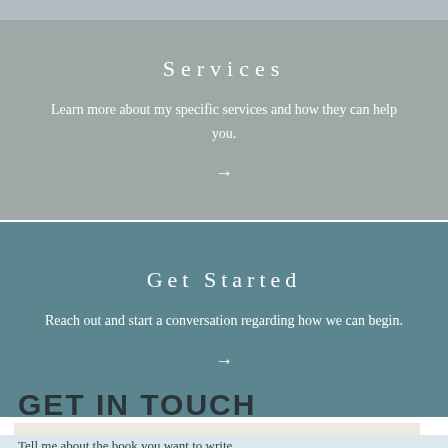Services
Learn more about my specific services and how they can help you.
Get Started
Reach out and start a conversation regarding how we can begin.
GET IN TOUCH
Tell me about the book you want to write.